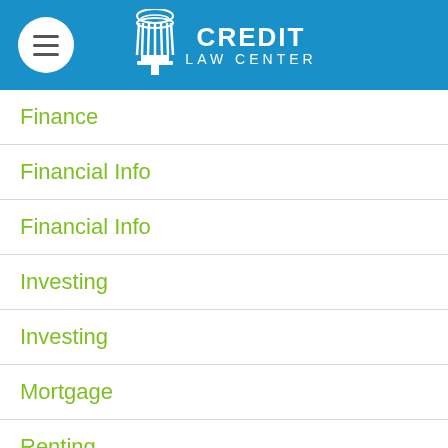Credit Law Center
Finance
Financial Info
Financial Info
Investing
Investing
Mortgage
Renting
Savings
Scams
Taxes